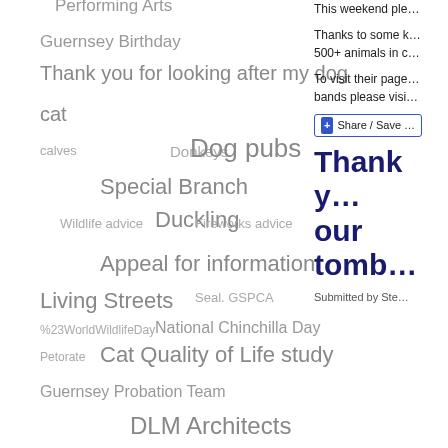[Figure (infographic): Tag cloud with various topics related to an animal/community organization, including terms like 'Performing Arts', 'Guernsey Birthday', 'Thank you for looking after my dog', 'cat', 'calves', 'Donkeys', 'Dog pubs', 'Special Branch', 'Wildlife advice', 'Duckling', 'Fireworks advice', 'Appeal for information', 'Living Streets', 'Seal. GSPCA', '%23WorldWildlifeDay', 'National Chinchilla Day', 'Petorate', 'Cat Quality of Life study', 'Guernsey Probation Team', 'DLM Architects', 'Peter Rabbit', 'Guernsey Health Show', 'Princes Trust', 'Mascot Race', 'Cold Weather', 'Coffee Mornings']
This weekend ple...
Thanks to some k... 500+ animals in c...
To visit their page... bands please visi...
Thank you for our tomb...
Submitted by Ste...